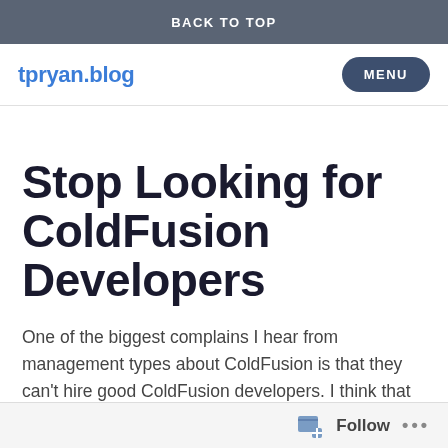BACK TO TOP
tpryan.blog   MENU
Stop Looking for ColdFusion Developers
One of the biggest complains I hear from management types about ColdFusion is that they can't hire good ColdFusion developers. I think that this occurs because people often overlook one of ColdFusion most accepted benefits. ColdFusion is exceedingly easy to learn. Which leads me to my biggest piece of ColdFusion hiring advice...
Follow ...